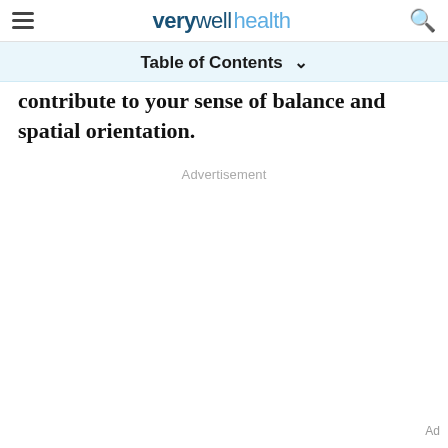verywell health
Table of Contents
contribute to your sense of balance and spatial orientation.
Advertisement
Ad